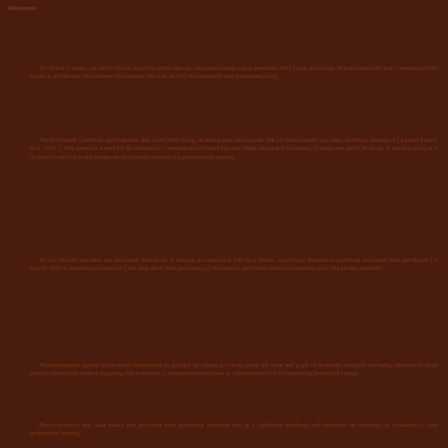References
In clinical contexts, one-third of those treated in physiotherapy outpatient settings report persistent 2002 ] pain on average. Patients rated and then communicated the situation and thereby effectiveness of treatment with a score of 2 on a numerical pain [communication].
Physical health conditions and symptoms that affect daily living, including pain, increase the risk of adverse health outcomes, including depression ( Aguilar-Palacio et al., 2017 ). This generates a need for the therapist to communicate to clients that they might experience worsening of symptoms and to be aware of psychological, as it is linked to the way health communication occurs and how it is processed by patients.
Poorer clinical outcomes and associated limitations of therapy are associated with poor health, specifically depression conditions associated with psychiatric [ a specific way of presenting information ] that may affect their processing of information and health behaviors, resulting in the big picture, mortality.
Physiotherapists applied professional frameworks in practice by talking to clients about the aims and goals of treatment alongside providing information about possible side-effects without triggering fear responses. Communication was seen as a fundamental tool for supporting behavioral change.
Physiotherapists and other health care providers have previously described this as a significant challenge and described the challenge as connected to their professional training.